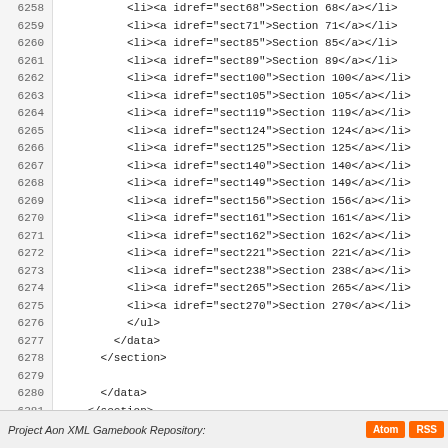Code listing lines 6258-6288 showing XML gamebook structure with list items referencing sections 71, 85, 89, 100, 105, 119, 124, 125, 140, 149, 156, 161, 162, 221, 238, 265, 270, followed by closing tags /ul, /data, /section, /data, /section, inclusion.project.aon.license entity reference, /data, /section, blank lines, and /gamebook closing tag.
Project Aon XML Gamebook Repository: